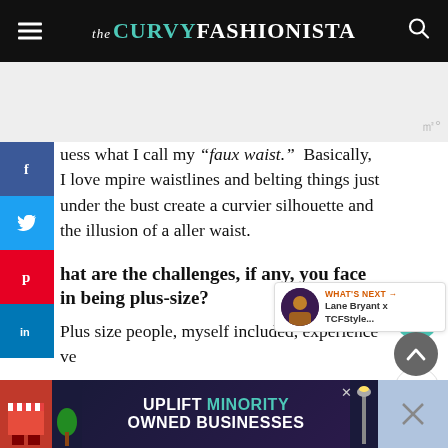the CURVY FASHIONISTA
[Figure (other): Advertisement placeholder, light gray background with watermark]
uess what I call my “faux waist.”  Basically, I love mpire waistlines and belting things just under the bust create a curvier silhouette and the illusion of a aller waist.
hat are the challenges, if any, you face in being plus-size?
Plus size people, myself included, experience ve... di... ma...
[Figure (other): Bottom advertisement banner: UPLIFT MINORITY OWNED BUSINESSES with colorful storefront icons on dark background]